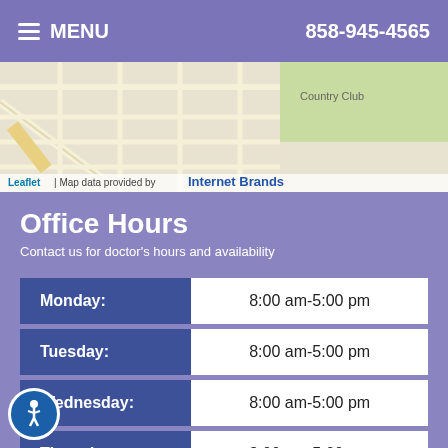MENU  858-945-4565
[Figure (map): Street map showing local area with 'Country Club' label, Leaflet map data provided by Internet Brands]
Office Hours
Contact us for doctor's hours and availability
| Day | Hours |
| --- | --- |
| Monday: | 8:00 am-5:00 pm |
| Tuesday: | 8:00 am-5:00 pm |
| Wednesday: | 8:00 am-5:00 pm |
| Thursday: | 8:00 am-5:00 pm |
| Friday: | 8:00 am-5:00 pm |